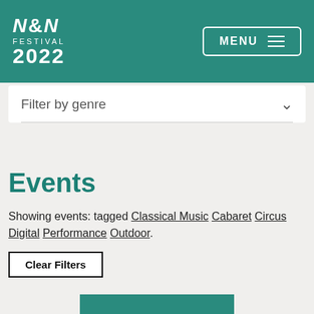N&N Festival 2022
Filter by genre
Events
Showing events: tagged Classical Music Cabaret Circus Digital Performance Outdoor.
Clear Filters